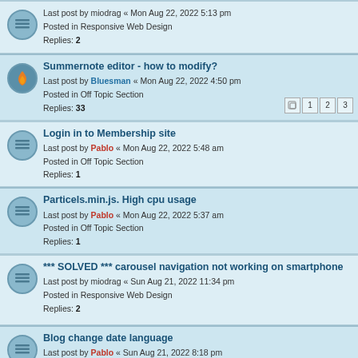Last post by miodrag « Mon Aug 22, 2022 5:13 pm
Posted in Responsive Web Design
Replies: 2
Summernote editor - how to modify?
Last post by Bluesman « Mon Aug 22, 2022 4:50 pm
Posted in Off Topic Section
Replies: 33
Login in to Membership site
Last post by Pablo « Mon Aug 22, 2022 5:48 am
Posted in Off Topic Section
Replies: 1
Particels.min.js. High cpu usage
Last post by Pablo « Mon Aug 22, 2022 5:37 am
Posted in Off Topic Section
Replies: 1
*** SOLVED *** carousel navigation not working on smartphone
Last post by miodrag « Sun Aug 21, 2022 11:34 pm
Posted in Responsive Web Design
Replies: 2
Blog change date language
Last post by Pablo « Sun Aug 21, 2022 8:18 pm
Posted in General Questions
Replies: 1
Where to get or how to do "Snap Scroll" extention?
Last post by Pablo « Sun Aug 21, 2022 2:43 pm
Posted in General Questions
Replies: 7
multiple hyperlinks